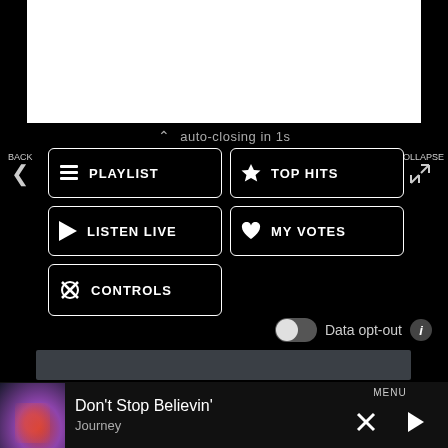[Figure (screenshot): White content area at top of screen]
auto-closing in 1s
BACK
COLLAPSE
PLAYLIST
TOP HITS
LISTEN LIVE
MY VOTES
CONTROLS
Data opt-out
Don't Stop Believin'
Journey
MENU